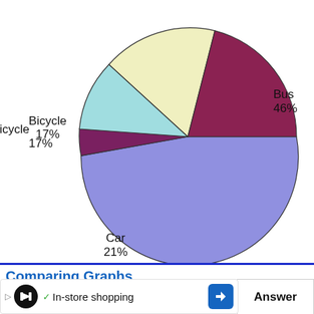[Figure (pie-chart): ]
Comparing Graphs
[Figure (screenshot): Screenshot of S&S Worldwide Online Learning website with video player overlay]